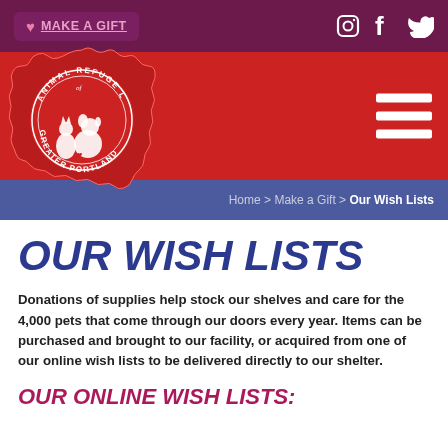MAKE A GIFT
[Figure (logo): Animal Refuge League of Greater Portland circular seal logo with dog and cat silhouettes]
Home > Make a Gift > Our Wish Lists
OUR WISH LISTS
Donations of supplies help stock our shelves and care for the 4,000 pets that come through our doors every year. Items can be purchased and brought to our facility, or acquired from one of our online wish lists to be delivered directly to our shelter.
OUR ONLINE WISH LISTS: